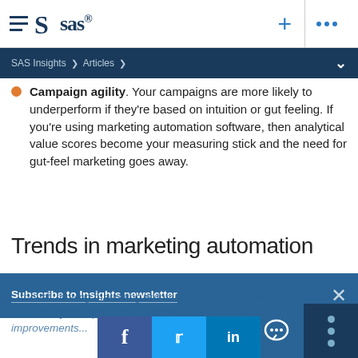SAS [logo] | + | ...
SAS Insights > Articles >
Campaign agility. Your campaigns are more likely to underperform if they're based on intuition or gut feeling. If you're using marketing automation software, then analytical value scores become your measuring stick and the need for gut-feel marketing goes away.
Trends in marketing automation
Subscribe to Insights newsletter
...robust, thriving marketing automation program, you should stay on top of technological advances and improvements...